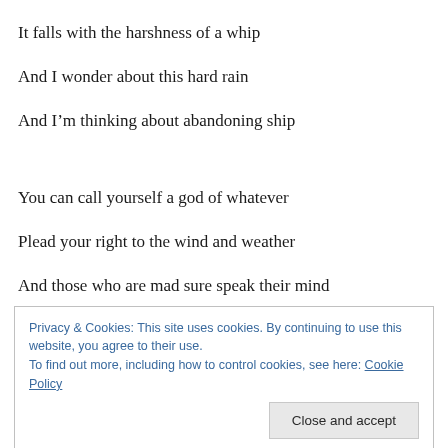It falls with the harshness of a whip
And I wonder about this hard rain
And I’m thinking about abandoning ship
You can call yourself a god of whatever
Plead your right to the wind and weather
And those who are mad sure speak their mind
Privacy & Cookies: This site uses cookies. By continuing to use this website, you agree to their use. To find out more, including how to control cookies, see here: Cookie Policy
Close and accept
Try to support your calling